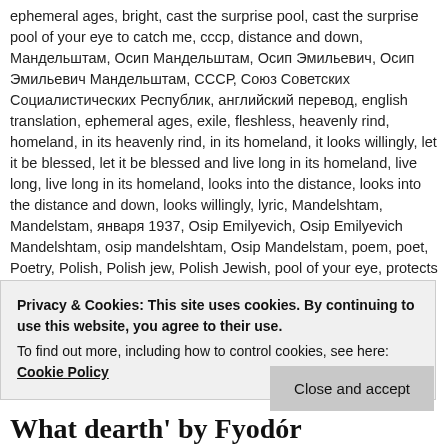ephemeral ages, bright, cast the surprise pool, cast the surprise pool of your eye to catch me, cccp, distance and down, Мандельштам, Осип Мандельштам, Осип Эмильевич, Осип Эмильевич Мандельштам, СССР, Союз Советских Социалистических Республик, английский перевод, english translation, ephemeral ages, exile, fleshless, heavenly rind, homeland, in its heavenly rind, in its homeland, it looks willingly, let it be blessed, let it be blessed and live long in its homeland, live long, live long in its homeland, looks into the distance, looks into the distance and down, looks willingly, lyric, Mandelshtam, Mandelstam, января 1937, Osip Emilyevich, Osip Emilyevich Mandelshtam, osip mandelshtam, Osip Mandelstam, poem, poet, Poetry, Polish, Polish jew, Polish Jewish, pool of your eye, protects your pupil, pupil in its heavenly rind, rainbowed, reserve of weak, Russia, russian, russian poem, russian poet, russian poetry, sensitive eyelashes, sensitive eyelashes protects, soviet, soviet poem, soviet poet, soviet poetry, still pleading, surprise pool,
Privacy & Cookies: This site uses cookies. By continuing to use this website, you agree to their use.
To find out more, including how to control cookies, see here: Cookie Policy
Close and accept
What dearth' by Fyodór